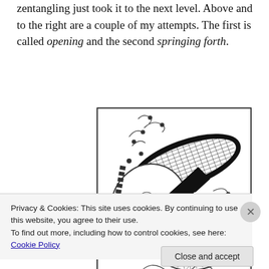zentangling just took it to the next level. Above and to the right are a couple of my attempts. The first is called opening and the second springing forth.
[Figure (illustration): A black and white zentangle drawing showing intricate overlapping leaf/petal shapes filled with various detailed patterns including spirals, crosshatching, scales, and geometric designs. Decorative curling tendrils extend outward.]
Privacy & Cookies: This site uses cookies. By continuing to use this website, you agree to their use.
To find out more, including how to control cookies, see here: Cookie Policy